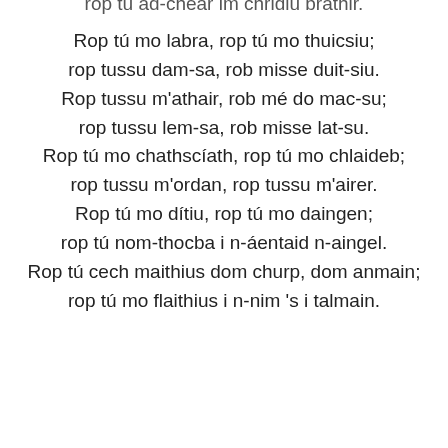rop tú ad-chéar im chridiu bráthir.
Rop tú mo labra, rop tú mo thuicsiu;
rop tussu dam-sa, rob misse duit-siu.
Rop tussu m'athair, rob mé do mac-su;
rop tussu lem-sa, rob misse lat-su.
Rop tú mo chathscíath, rop tú mo chlaideb;
rop tussu m'ordan, rop tussu m'airer.
Rop tú mo dítiu, rop tú mo daingen;
rop tú nom-thocba i n-áentaid n-aingel.
Rop tú cech maithius dom churp, dom anmain;
rop tú mo flaithius i n-nim 's i talmain.